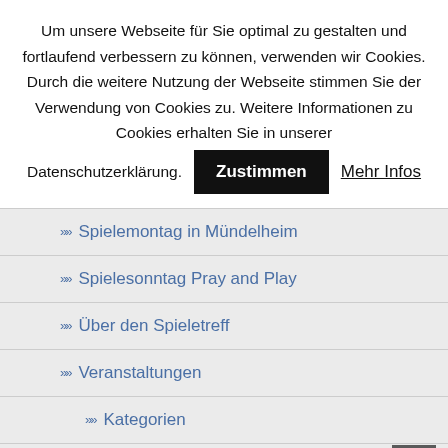Um unsere Webseite für Sie optimal zu gestalten und fortlaufend verbessern zu können, verwenden wir Cookies. Durch die weitere Nutzung der Webseite stimmen Sie der Verwendung von Cookies zu. Weitere Informationen zu Cookies erhalten Sie in unserer Datenschutzerklärung.
▶▶ Spielemontag in Mündelheim
▶▶ Spielesonntag Pray and Play
▶▶ Über den Spieletreff
▶▶ Veranstaltungen
▶▶ Kategorien
▶▶ Meine Buchungen